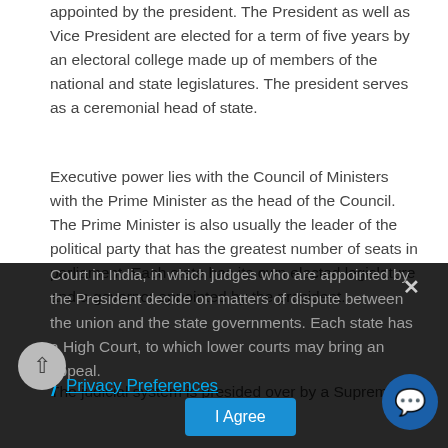appointed by the president. The President as well as Vice President are elected for a term of five years by an electoral college made up of members of the national and state legislatures. The president serves as a ceremonial head of state.
Executive power lies with the Council of Ministers with the Prime Minister as the head of the Council. The Prime Minister is also usually the leader of the political party that has the greatest number of seats in parliament. Each state has its own elected legislature and a governor appointed by the president.
The judicial system is presided over by a Supreme Court in India, in which judges who are appointed by the President decide on matters of dispute between the union and the state governments. Each state has a High Court, to which lower courts may bring an appeal.